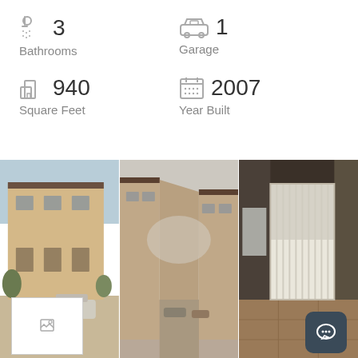3 Bathrooms
1 Garage
940 Square Feet
2007 Year Built
[Figure (photo): Exterior view of a two-story beige/tan apartment building with cars parked in front]
[Figure (photo): Street view between two apartment buildings showing a driveway/alley with parked cars]
[Figure (photo): Interior room with bright window/sliding glass door and tile floor]
[Figure (photo): Small thumbnail image placeholder in bottom left]
[Figure (other): Chat/message button in bottom right corner]